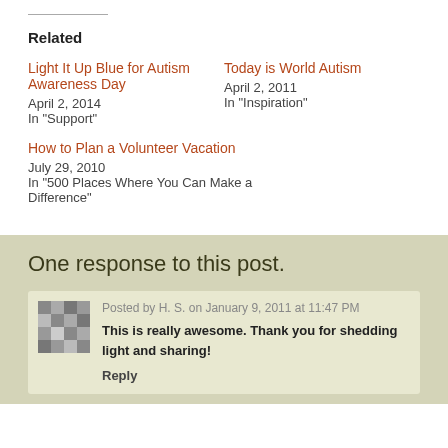Related
Light It Up Blue for Autism Awareness Day
April 2, 2014
In "Support"
Today is World Autism
April 2, 2011
In "Inspiration"
How to Plan a Volunteer Vacation
July 29, 2010
In "500 Places Where You Can Make a Difference"
One response to this post.
Posted by H. S. on January 9, 2011 at 11:47 PM
This is really awesome. Thank you for shedding light and sharing!
Reply